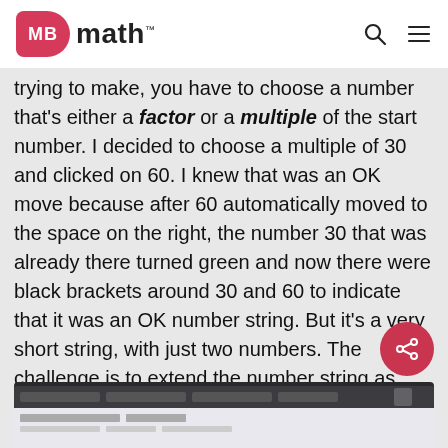MB math™
trying to make, you have to choose a number that's either a factor or a multiple of the start number. I decided to choose a multiple of 30 and clicked on 60. I knew that was an OK move because after 60 automatically moved to the space on the right, the number 30 that was already there turned green and now there were black brackets around 30 and 60 to indicate that it was an OK number string. But it's a very short string, with just two numbers. The challenge is to extend the number string as long as possible.
[Figure (screenshot): Screenshot of a web browser showing a math game interface]